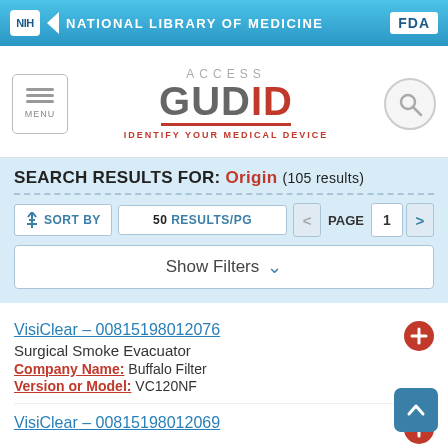NIH NATIONAL LIBRARY OF MEDICINE | FDA
[Figure (logo): ACCESS GUDID - IDENTIFY YOUR MEDICAL DEVICE logo with menu and search icons]
SEARCH RESULTS FOR: Origin (105 results)
SORT BY | 50 RESULTS/PG | PAGE 1
Show Filters
VisiClear – 00815198012076
Surgical Smoke Evacuator
Company Name: Buffalo Filter
Version or Model: VC120NF
VisiClear – 00815198012069